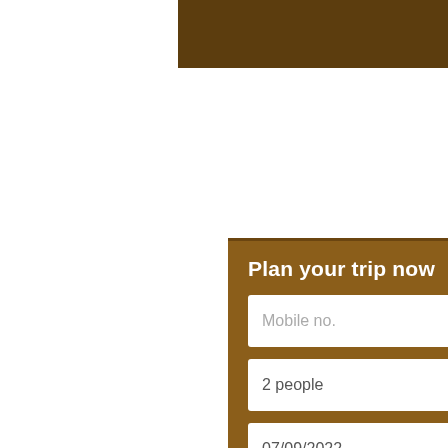[Figure (other): Dark brown rectangular bar in upper right area of page, cropped]
Plan your trip now
| Field 1 | Field 2 |
| --- | --- |
| Mobile no. | Going t... |
| 2 people ▾ | 3 Nigh... |
| 07/09/2022 | Depart... |
| Email Id | Your Na... |